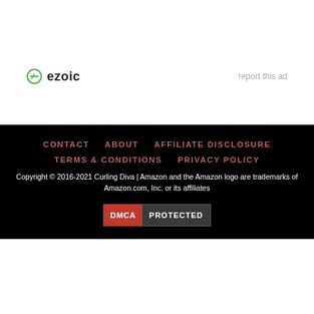[Figure (logo): Ezoic logo with green circle icon and bold 'ezoic' text, plus 'report this ad' link to the right]
CONTACT   ABOUT   AFFILIATE DISCLOSURE   TERMS & CONDITIONS   PRIVACY POLICY
Copyright © 2016-2021 Curling Diva | Amazon and the Amazon logo are trademarks of Amazon.com, Inc. or its affiliates
[Figure (logo): DMCA PROTECTED badge]